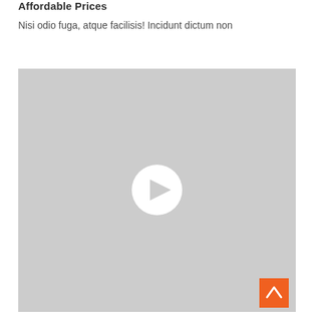Affordable Prices
Nisi odio fuga, atque facilisis! Incidunt dictum non
[Figure (other): A video thumbnail placeholder with a gray background and a white circular play button icon in the center. An orange back-to-top button is positioned in the bottom-right corner of the video area.]